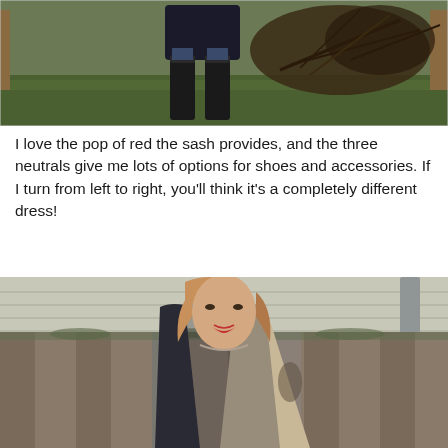[Figure (photo): Outdoor photo showing person's lower body from waist down, wearing dark skirt/dress with tall black boots and jeans, standing on grass with wooden fence and bare branches in background]
I love the pop of red the sash provides, and the three neutrals give me lots of options for shoes and accessories. If I turn from left to right, you'll think it's a completely different dress!
[Figure (photo): Outdoor photo of a blonde woman smiling, wearing a dark and light colored dress, standing in front of a wooden fence with a house and drainpipe visible in the background]